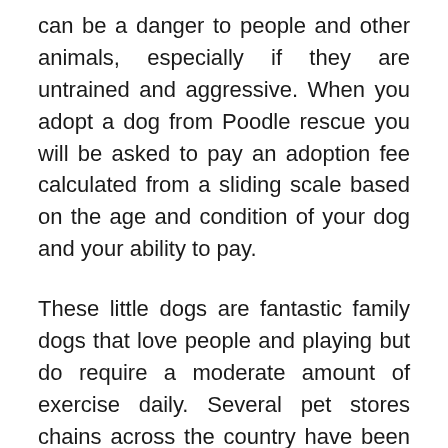can be a danger to people and other animals, especially if they are untrained and aggressive. When you adopt a dog from Poodle rescue you will be asked to pay an adoption fee calculated from a sliding scale based on the age and condition of your dog and your ability to pay.
These little dogs are fantastic family dogs that love people and playing but do require a moderate amount of exercise daily. Several pet stores chains across the country have been forced to close, and puppy mills breeders are feeling the pinch of lost business.